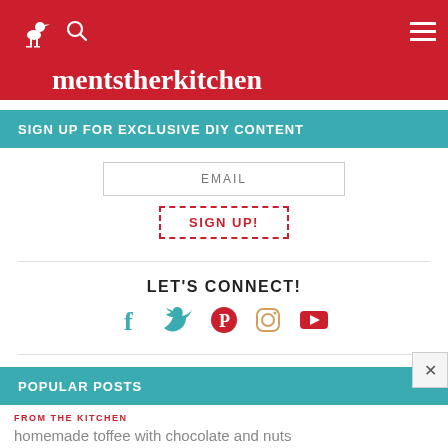Site navigation header with bird logo, search icon, and hamburger menu
SIGN UP FOR EXCLUSIVE DIY CONTENT
EMAIL (input field)
SIGN UP!
LET'S CONNECT!
[Figure (infographic): Social media icons: Facebook (teal), Twitter (teal), Pinterest (red), Instagram (orange outline), YouTube (red)]
POPULAR POSTS
FROM THE KITCHEN
homemade toffee with chocolate and nuts